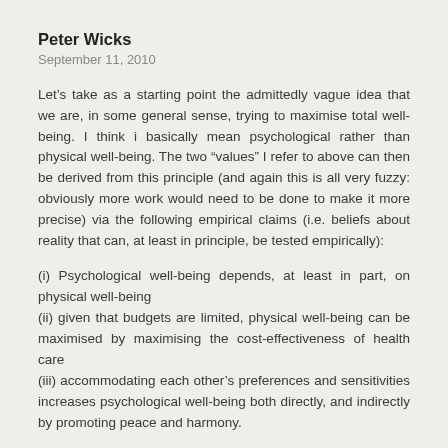Peter Wicks
September 11, 2010
Let's take as a starting point the admittedly vague idea that we are, in some general sense, trying to maximise total well-being. I think i basically mean psychological rather than physical well-being. The two “values” I refer to above can then be derived from this principle (and again this is all very fuzzy: obviously more work would need to be done to make it more precise) via the following empirical claims (i.e. beliefs about reality that can, at least in principle, be tested empirically):
(i) Psychological well-being depends, at least in part, on physical well-being
(ii) given that budgets are limited, physical well-being can be maximised by maximising the cost-effectiveness of health care
(iii) accommodating each other’s preferences and sensitivities increases psychological well-being both directly, and indirectly by promoting peace and harmony.